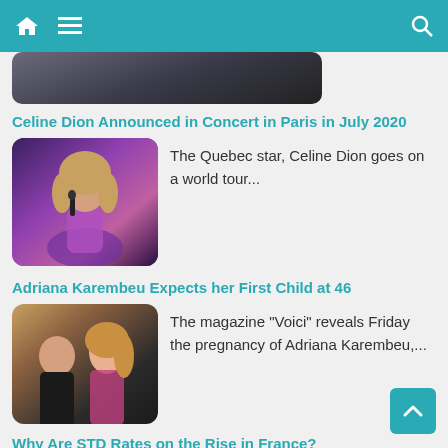Navigation bar with home, menu, and search icons
[Figure (screenshot): Partial thumbnail of an image at the top, partially cropped]
Celine Dion Announced in Concert in Paris in July 2020
[Figure (photo): Photo of Celine Dion performing in a pink/purple dress holding a microphone]
The Quebec star, Celine Dion goes on a world tour...
Adriana Karembeu Expects her First Child at 46
[Figure (photo): Photo of a couple, a man and a woman (Adriana Karembeu) at an event]
The magazine "Voici" reveals Friday the pregnancy of Adriana Karembeu,...
Why Are STD Rates on the Rise in France?
[Figure (photo): Black and white photo of a woman looking down, holding a tissue]
The information about sexually transmitted diseases and how to prevent...